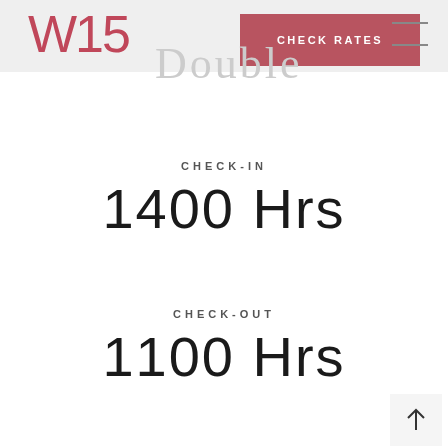W15
Double
CHECK RATES
CHECK-IN
1400 Hrs
CHECK-OUT
1100 Hrs